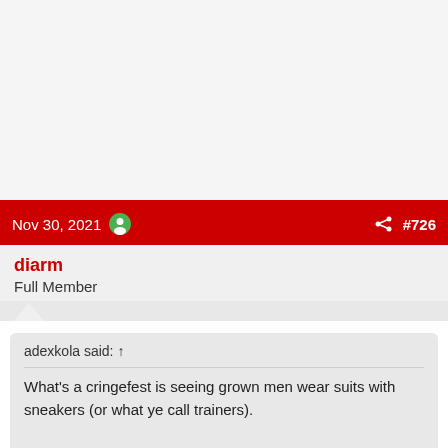Nov 30, 2021  #726
diarm
Full Member
adexkola said: ↑

What's a cringefest is seeing grown men wear suits with sneakers (or what ye call trainers).

I sincerely believe such wankers should be defenestrated.
What an excellent word!